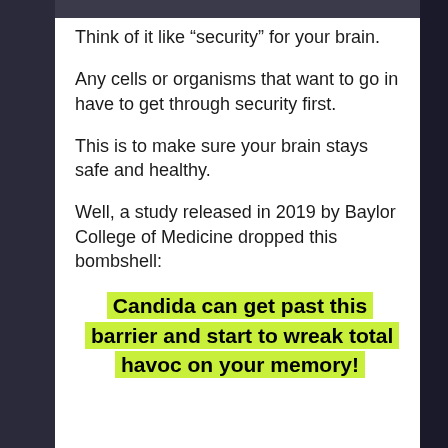Think of it like “security” for your brain.
Any cells or organisms that want to go in have to get through security first.
This is to make sure your brain stays safe and healthy.
Well, a study released in 2019 by Baylor College of Medicine dropped this bombshell:
Candida can get past this barrier and start to wreak total havoc on your memory!